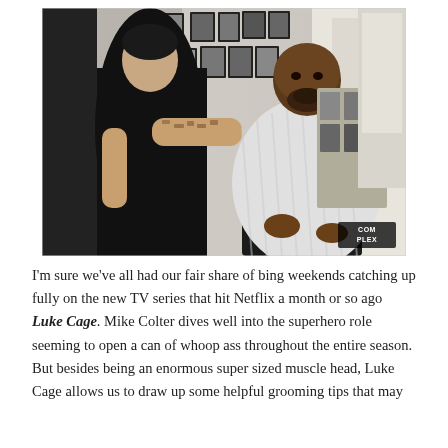[Figure (photo): A barber with tattoos on his arms wearing a black shirt trims or styles the beard of a large man seated in a barber chair, draped in a white striped barber cape. The barbershop has framed photos on the wall. A 'COMPLEX' watermark appears in the bottom-right corner of the image.]
I'm sure we've all had our fair share of bing weekends catching up fully on the new TV series that hit Netflix a month or so ago Luke Cage. Mike Colter dives well into the superhero role seeming to open a can of whoop ass throughout the entire season. But besides being an enormous super sized muscle head, Luke Cage allows us to draw up some helpful grooming tips that may